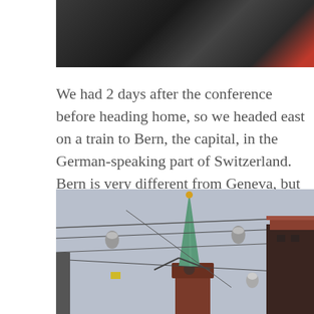[Figure (photo): Partial photo at top of page showing dark clothing/figures with a red element visible at right edge]
We had 2 days after the conference before heading home, so we headed east on a train to Bern, the capital, in the German-speaking part of Switzerland. Bern is very different from Geneva, but not much has changed since I first visited in April 2003.
[Figure (photo): Photo of a church steeple with green copper spire visible above rooftops, with tram/trolley wires crossing in the foreground against a grey sky, and buildings visible on the right]